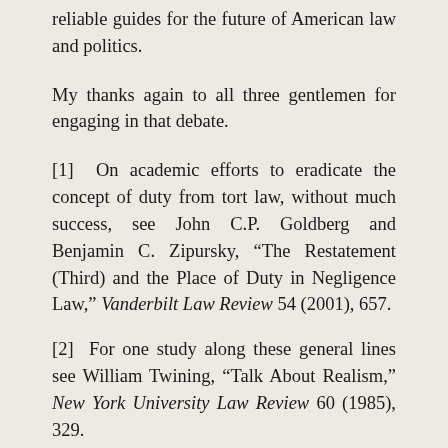reliable guides for the future of American law and politics.
My thanks again to all three gentlemen for engaging in that debate.
[1] On academic efforts to eradicate the concept of duty from tort law, without much success, see John C.P. Goldberg and Benjamin C. Zipursky, “The Restatement (Third) and the Place of Duty in Negligence Law,” Vanderbilt Law Review 54 (2001), 657.
[2] For one study along these general lines see William Twining, “Talk About Realism,” New York University Law Review 60 (1985), 329.
[3] See, for example, Professor Saikrishna